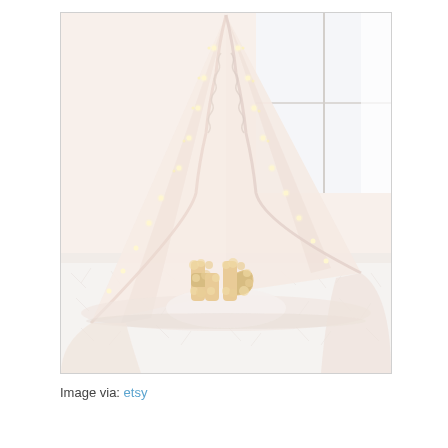[Figure (photo): A white lace teepee tent decorated with warm fairy lights, sitting on a white fluffy rug. Inside the tent are cream/golden floral letter decorations. A bright window with sheer curtains is visible in the background. The overall aesthetic is soft, romantic, and whimsical.]
Image via: etsy